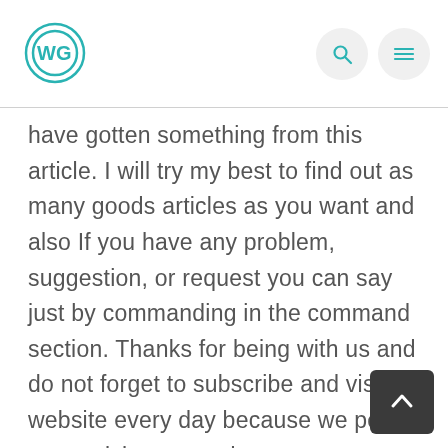WG logo with navigation search and menu buttons
have gotten something from this article. I will try my best to find out as many goods articles as you want and also If you have any problem, suggestion, or request you can say just by commanding in the command section. Thanks for being with us and do not forget to subscribe and visit our website every day because we post new articles every day.